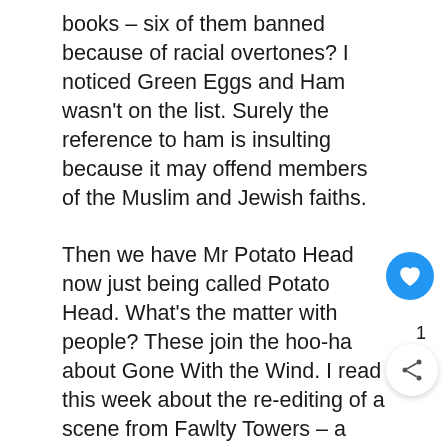books – six of them banned because of racial overtones? I noticed Green Eggs and Ham wasn't on the list. Surely the reference to ham is insulting because it may offend members of the Muslim and Jewish faiths.
Then we have Mr Potato Head now just being called Potato Head. What's the matter with people? These join the hoo-ha about Gone With the Wind. I read this week about the re-editing of a scene from Fawlty Towers – a totally politically incorrect masterpiece of humour of its time.
We know that Love Thy Neighbour was racist but nearly everyone appreciated that it was the racist character that was made to look like the ignorant idiot that he was. As with Alf Garnett and his homophobic, misogynistic, racist character and his rants, we laughed because we